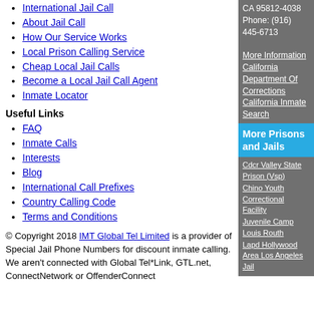International Jail Call
About Jail Call
How Our Service Works
Local Prison Calling Service
Cheap Local Jail Calls
Become a Local Jail Call Agent
Inmate Locator
Useful Links
FAQ
Inmate Calls
Interests
Blog
International Call Prefixes
Country Calling Code
Terms and Conditions
© Copyright 2018 IMT Global Tel Limited is a provider ofSpecial Jail Phone Numbers for discount inmate calling.We aren't connected with Global Tel*Link, GTL.net, ConnectNetwork or OffenderConnect
CA 95812-4038
Phone: (916) 445-6713
More Information California Department Of Corrections California Inmate Search
More Prisons and Jails
Cdcr Valley State Prison (Vsp) Chino Youth Correctional Facility Juvenile Camp Louis Routh Lapd Hollywood Area Los Angeles Jail